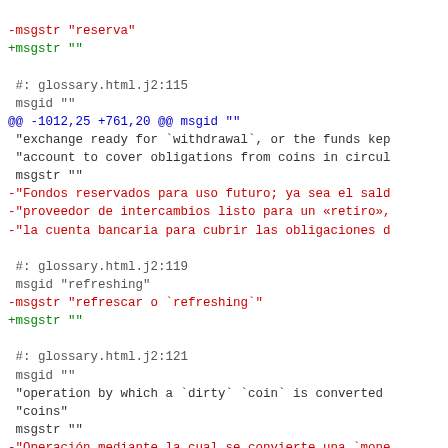diff/patch code showing gettext PO file changes with msgid/msgstr entries for Spanish translations
-msgstr "reserva"
+msgstr ""

 #: glossary.html.j2:115
 msgid ""
@@ -1012,25 +761,20 @@ msgid ""
 "exchange ready for `withdrawal`, or the funds kep
 "account to cover obligations from coins in circul
 msgstr ""
-"Fondos reservados para uso futuro; ya sea el sald
-"proveedor de intercambios listo para un «retiro»,
-"la cuenta bancaria para cubrir las obligaciones d

 #: glossary.html.j2:119
 msgid "refreshing"
-msgstr "refrescar o `refreshing`"
+msgstr ""

 #: glossary.html.j2:121
 msgid ""
 "operation by which a `dirty` `coin` is converted
 "coins"
 msgstr ""
-"Operación mediante la cual se convierte una `mone
-"monedas `frescas`"

 #: glossary.html.j2:125
 msgid "refund"
-msgstr "reembolso"
+msgstr ""